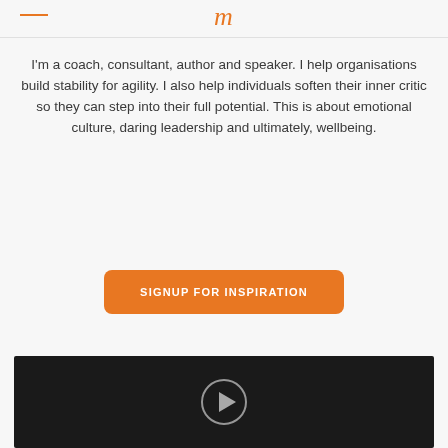m
I'm a coach, consultant, author and speaker. I help organisations build stability for agility. I also help individuals soften their inner critic so they can step into their full potential. This is about emotional culture, daring leadership and ultimately, wellbeing.
SIGNUP FOR INSPIRATION
[Figure (screenshot): Dark video player area with a circular play button in the center]